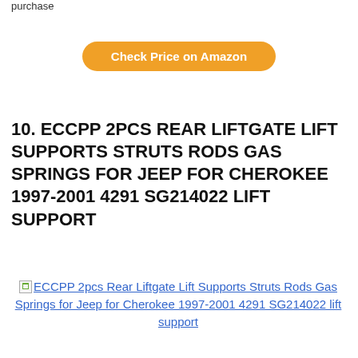purchase
Check Price on Amazon
10. ECCPP 2PCS REAR LIFTGATE LIFT SUPPORTS STRUTS RODS GAS SPRINGS FOR JEEP FOR CHEROKEE 1997-2001 4291 SG214022 LIFT SUPPORT
[Figure (other): Broken image placeholder for ECCPP 2pcs Rear Liftgate Lift Supports Struts Rods Gas Springs for Jeep for Cherokee 1997-2001 4291 SG214022 lift support]